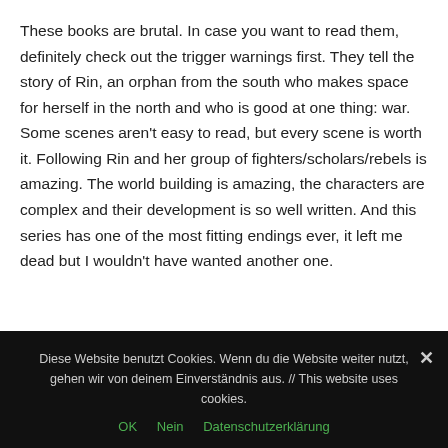These books are brutal. In case you want to read them, definitely check out the trigger warnings first. They tell the story of Rin, an orphan from the south who makes space for herself in the north and who is good at one thing: war. Some scenes aren't easy to read, but every scene is worth it. Following Rin and her group of fighters/scholars/rebels is amazing. The world building is amazing, the characters are complex and their development is so well written. And this series has one of the most fitting endings ever, it left me dead but I wouldn't have wanted another one.
Diese Website benutzt Cookies. Wenn du die Website weiter nutzt, gehen wir von deinem Einverständnis aus. // This website uses cookies.
OK   Nein   Datenschutzerklärung